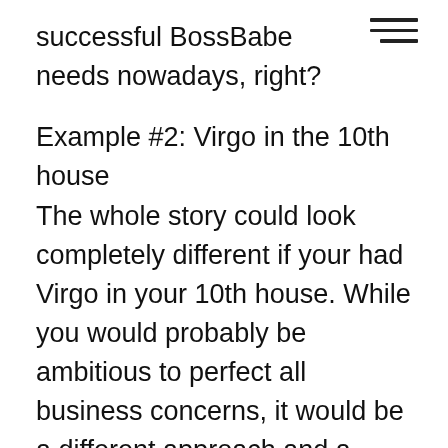successful BossBabe needs nowadays, right?
Example #2: Virgo in the 10th house
The whole story could look completely different if your had Virgo in your 10th house. While you would probably be ambitious to perfect all business concerns, it would be a different approach and a different kind of ambition. Virgos love to analyze and optimize. They are also